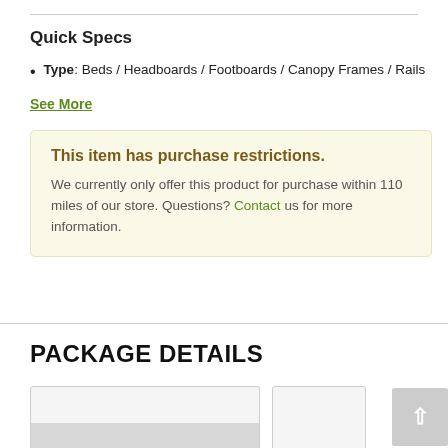Quick Specs
Type: Beds / Headboards / Footboards / Canopy Frames / Rails
See More
This item has purchase restrictions. We currently only offer this product for purchase within 110 miles of our store. Questions? Contact us for more information.
PACKAGE DETAILS
[Figure (photo): Product image placeholder at bottom of page]